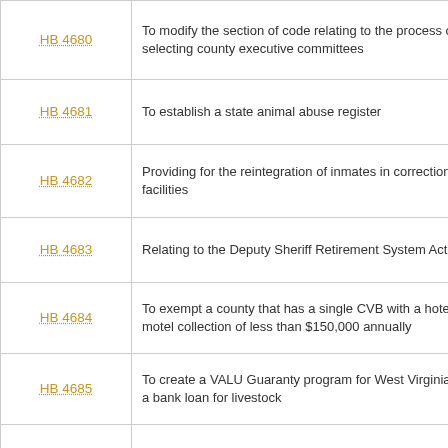| Bill | Description |
| --- | --- |
| HB 4680 | To modify the section of code relating to the process of selecting county executive committees |
| HB 4681 | To establish a state animal abuse register |
| HB 4682 | Providing for the reintegration of inmates in correctional facilities |
| HB 4683 | Relating to the Deputy Sheriff Retirement System Act |
| HB 4684 | To exempt a county that has a single CVB with a hotel or motel collection of less than $150,000 annually |
| HB 4685 | To create a VALU Guaranty program for West Virginia for a bank loan for livestock |
| HB 4686 | Repeal right to work |
| HB 4687 | Relating to wild and wonderful restoration Task Force |